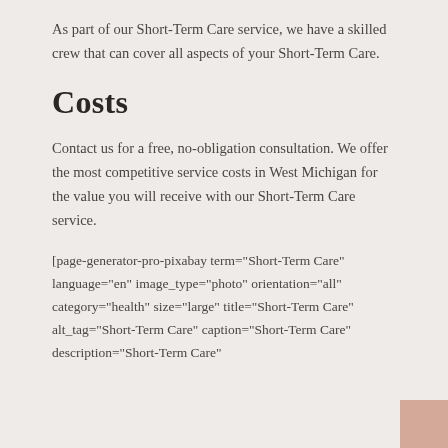As part of our Short-Term Care service, we have a skilled crew that can cover all aspects of your Short-Term Care.
Costs
Contact us for a free, no-obligation consultation. We offer the most competitive service costs in West Michigan for the value you will receive with our Short-Term Care service.
[page-generator-pro-pixabay term="Short-Term Care" language="en" image_type="photo" orientation="all" category="health" size="large" title="Short-Term Care" alt_tag="Short-Term Care" caption="Short-Term Care" description="Short-Term Care"